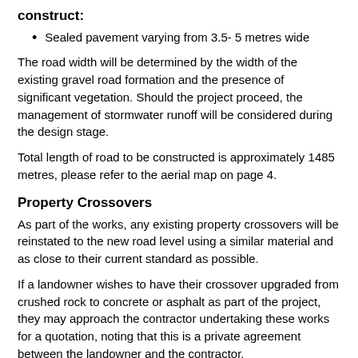construct:
Sealed pavement varying from 3.5- 5 metres wide
The road width will be determined by the width of the existing gravel road formation and the presence of significant vegetation. Should the project proceed, the management of stormwater runoff will be considered during the design stage.
Total length of road to be constructed is approximately 1485 metres, please refer to the aerial map on page 4.
Property Crossovers
As part of the works, any existing property crossovers will be reinstated to the new road level using a similar material and as close to their current standard as possible.
If a landowner wishes to have their crossover upgraded from crushed rock to concrete or asphalt as part of the project, they may approach the contractor undertaking these works for a quotation, noting that this is a private agreement between the landowner and the contractor.